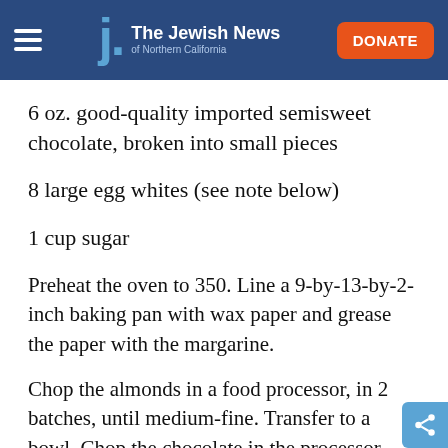The Jewish News of Northern California
6 oz. good-quality imported semisweet chocolate, broken into small pieces
8 large egg whites (see note below)
1 cup sugar
Preheat the oven to 350. Line a 9-by-13-by-2-inch baking pan with wax paper and grease the paper with the margarine.
Chop the almonds in a food processor, in 2 batches, until medium-fine. Transfer to a bowl. Chop the chocolate in the processor until fine and